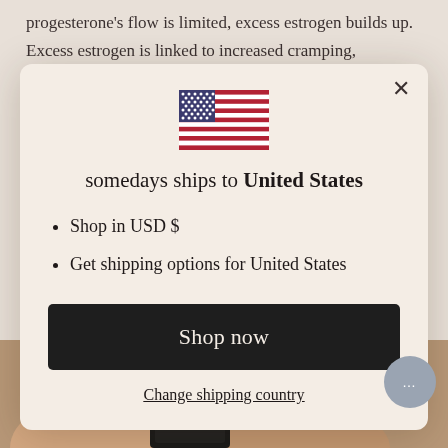progesterone's flow is limited, excess estrogen builds up.
Excess estrogen is linked to increased cramping,
[Figure (screenshot): Modal dialog box with US flag, text 'somedays ships to United States', bullet points for USD and shipping options, a 'Shop now' button, and a 'Change shipping country' link. Background shows a webpage with text about estrogen and a product photo.]
Shop in USD $
Get shipping options for United States
Shop now
Change shipping country